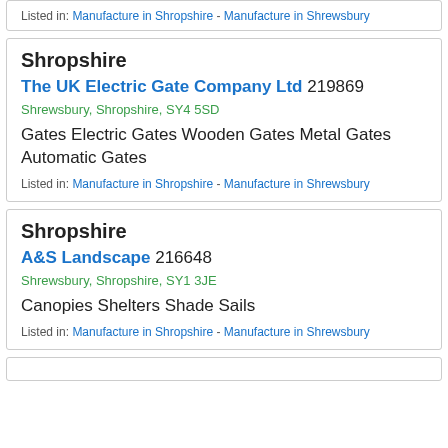Listed in: Manufacture in Shropshire - Manufacture in Shrewsbury
Shropshire
The UK Electric Gate Company Ltd 219869
Shrewsbury, Shropshire, SY4 5SD
Gates Electric Gates Wooden Gates Metal Gates Automatic Gates
Listed in: Manufacture in Shropshire - Manufacture in Shrewsbury
Shropshire
A&S Landscape 216648
Shrewsbury, Shropshire, SY1 3JE
Canopies Shelters Shade Sails
Listed in: Manufacture in Shropshire - Manufacture in Shrewsbury